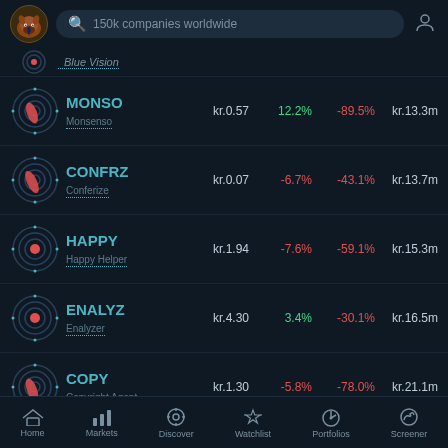150k companies worldwide
Blue Vision (partially visible)
MONSO / Monsenso | kr.0.57 | 12.2% | -89.5% | kr.13.3m
CONFRZ / Conferize | kr.0.07 | -6.7% | -43.1% | kr.13.7m
HAPPY / Happy Helper | kr.1.94 | -7.6% | -59.1% | kr.15.3m
ENALYZ / Enalyzer | kr.4.30 | 3.4% | -30.1% | kr.16.5m
COPY / Copyright Agent | kr.1.30 | -5.8% | -78.0% | kr.21.1m
Home | Markets | Discover | Watchlist | Portfolios | Screener